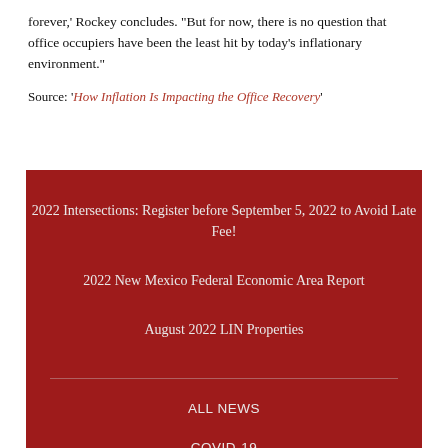forever,' Rockey concludes. 'But for now, there is no question that office occupiers have been the least hit by today's inflationary environment.'
Source: 'How Inflation Is Impacting the Office Recovery'
2022 Intersections: Register before September 5, 2022 to Avoid Late Fee!
2022 New Mexico Federal Economic Area Report
August 2022 LIN Properties
ALL NEWS
COVID-19